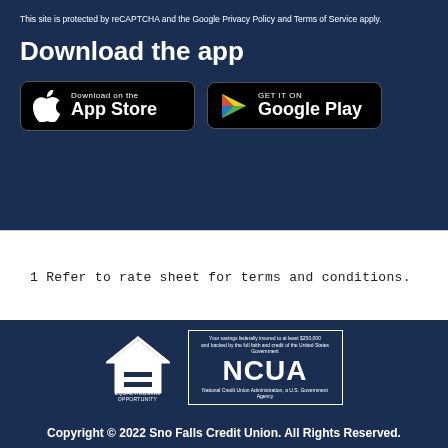This site is protected by reCAPTCHA and the Google Privacy Policy and Terms of Service apply.
Download the app
[Figure (other): App Store download button for iOS]
[Figure (other): Google Play download button for Android]
1 Refer to rate sheet for terms and conditions.
[Figure (logo): Equal Housing Opportunity logo]
[Figure (logo): NCUA logo with text: Your savings federally insured to at least $250,000 and backed by the full faith and credit of the United States Government. National Credit Union Administration, a U.S. Government Agency.]
Copyright © 2022 Sno Falls Credit Union. All Rights Reserved.